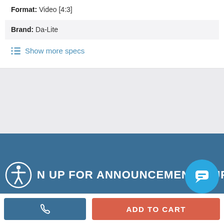Format: Video [4:3]
Brand: Da-Lite
Show more specs
N UP FOR ANNOUNCEMENTS, UPDA
ADD TO CART